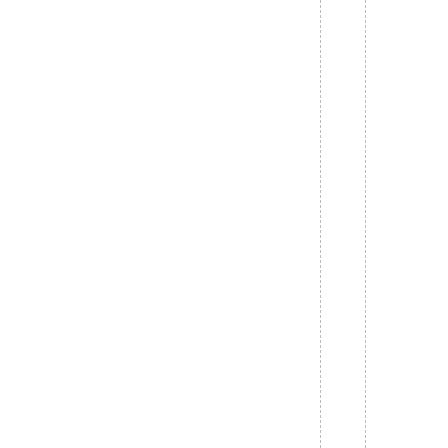onfusedandcontradictorystatist